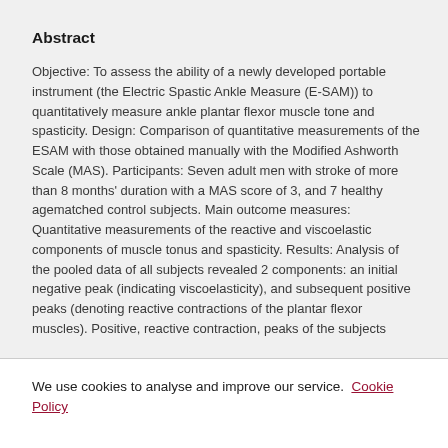Abstract
Objective: To assess the ability of a newly developed portable instrument (the Electric Spastic Ankle Measure (E-SAM)) to quantitatively measure ankle plantar flexor muscle tone and spasticity. Design: Comparison of quantitative measurements of the ESAM with those obtained manually with the Modified Ashworth Scale (MAS). Participants: Seven adult men with stroke of more than 8 months' duration with a MAS score of 3, and 7 healthy agematched control subjects. Main outcome measures: Quantitative measurements of the reactive and viscoelastic components of muscle tonus and spasticity. Results: Analysis of the pooled data of all subjects revealed 2 components: an initial negative peak (indicating viscoelasticity), and subsequent positive peaks (denoting reactive contractions of the plantar flexor muscles). Positive, reactive contraction, peaks of the subjects
We use cookies to analyse and improve our service. Cookie Policy